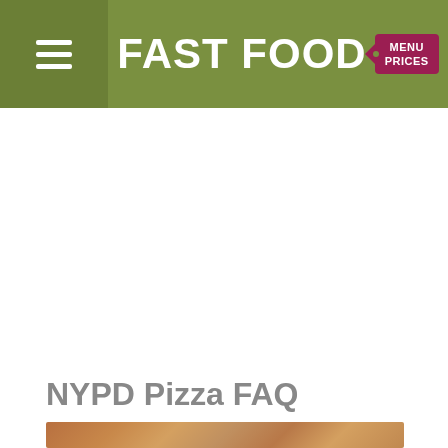FAST FOOD MENU PRICES
[Figure (photo): Advertisement/blank white space below header]
NYPD Pizza FAQ
[Figure (photo): Partial food/pizza image strip at bottom]